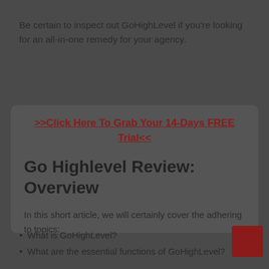Be certain to inspect out GoHighLevel if you're looking for an all-in-one remedy for your agency.
>>Click Here To Grab Your 14-Days FREE Trial<<
Go Highlevel Review: Overview
In this short article, we will certainly cover the adhering to topics:
What is GoHighLevel?
What are the essential functions of GoHighLevel?